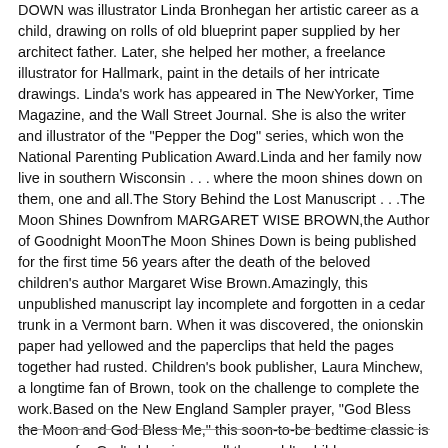DOWN was illustrator Linda Bronhegan her artistic career as a child, drawing on rolls of old blueprint paper supplied by her architect father. Later, she helped her mother, a freelance illustrator for Hallmark, paint in the details of her intricate drawings. Linda's work has appeared in The NewYorker, Time Magazine, and the Wall Street Journal. She is also the writer and illustrator of the "Pepper the Dog" series, which won the National Parenting Publication Award.Linda and her family now live in southern Wisconsin . . . where the moon shines down on them, one and all.The Story Behind the Lost Manuscript . . .The Moon Shines Downfrom MARGARET WISE BROWN,the Author of Goodnight MoonThe Moon Shines Down is being published for the first time 56 years after the death of the beloved children's author Margaret Wise Brown.Amazingly, this unpublished manuscript lay incomplete and forgotten in a cedar trunk in a Vermont barn. When it was discovered, the onionskin paper had yellowed and the paperclips that held the pages together had rusted. Children's book publisher, Laura Minchew, a longtime fan of Brown, took on the challenge to complete the work.Based on the New England Sampler prayer, "God Bless the Moon and God Bless Me," this soon-to-be bedtime classic is a prayer for God's blessing on all the world's children.